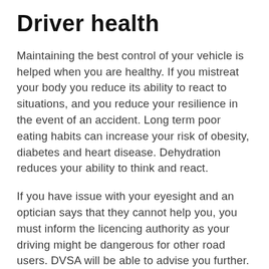Driver health
Maintaining the best control of your vehicle is helped when you are healthy. If you mistreat your body you reduce its ability to react to situations, and you reduce your resilience in the event of an accident. Long term poor eating habits can increase your risk of obesity, diabetes and heart disease. Dehydration reduces your ability to think and react.
If you have issue with your eyesight and an optician says that they cannot help you, you must inform the licencing authority as your driving might be dangerous for other road users. DVSA will be able to advise you further. If you have to wear glasses for driving and you cannot find them, you must find another way